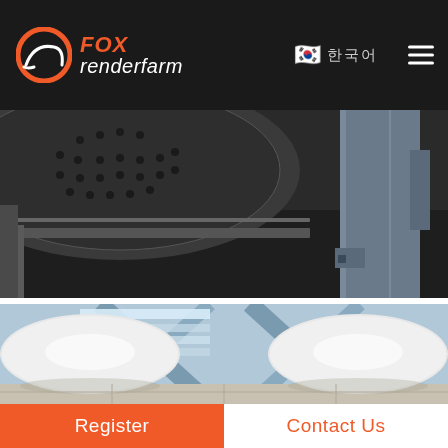FOX renderfarm — 한국어 navigation header with hamburger menu
[Figure (photo): Close-up photo of dark industrial machinery, large circular disc with holes and metal framing, dark asphalt-like surface]
[Figure (photo): Photo of white cylindrical pipes/tubes in a blue industrial facility with steel beams and bright lighting overhead]
Register
Contact Us